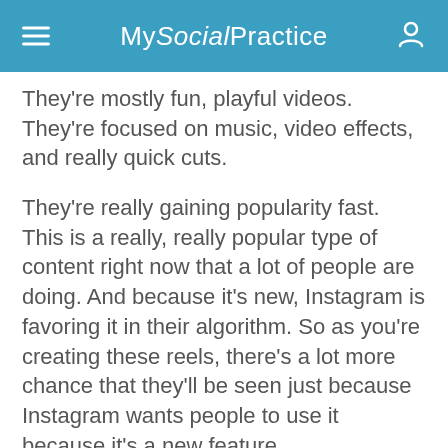My Social Practice
They're mostly fun, playful videos. They're focused on music, video effects, and really quick cuts.
They're really gaining popularity fast. This is a really, really popular type of content right now that a lot of people are doing. And because it's new, Instagram is favoring it in their algorithm. So as you're creating these reels, there's a lot more chance that they'll be seen just because Instagram wants people to use it because it's a new feature.
So I'm going to talk a little bit more about all of those, but I wanted to